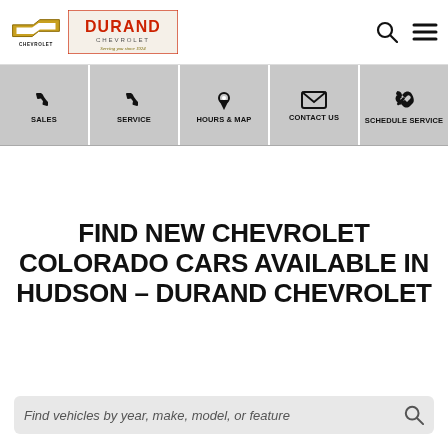[Figure (logo): Chevrolet bowtie logo and Durand Chevrolet dealership logo with tagline 'Serving you since 1924']
[Figure (infographic): Navigation bar with five sections: SALES (phone icon), SERVICE (phone icon), HOURS & MAP (location pin icon), CONTACT US (envelope icon), SCHEDULE SERVICE (wrench icon)]
FIND NEW CHEVROLET COLORADO CARS AVAILABLE IN HUDSON – DURAND CHEVROLET
Find vehicles by year, make, model, or feature